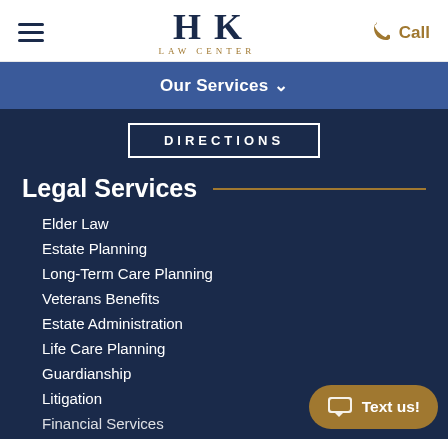Hook Law Center — Call
Our Services
DIRECTIONS
Legal Services
Elder Law
Estate Planning
Long-Term Care Planning
Veterans Benefits
Estate Administration
Life Care Planning
Guardianship
Litigation
Financial Services